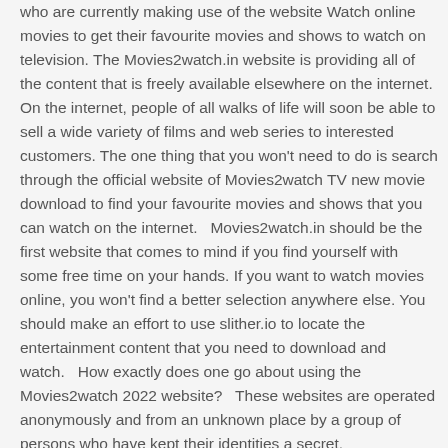who are currently making use of the website Watch online movies to get their favourite movies and shows to watch on television. The Movies2watch.in website is providing all of the content that is freely available elsewhere on the internet. On the internet, people of all walks of life will soon be able to sell a wide variety of films and web series to interested customers. The one thing that you won't need to do is search through the official website of Movies2watch TV new movie download to find your favourite movies and shows that you can watch on the internet.   Movies2watch.in should be the first website that comes to mind if you find yourself with some free time on your hands. If you want to watch movies online, you won't find a better selection anywhere else. You should make an effort to use slither.io to locate the entertainment content that you need to download and watch.   How exactly does one go about using the Movies2watch 2022 website?   These websites are operated anonymously and from an unknown place by a group of persons who have kept their identities a secret. Movies2watch websites usually start by uploading their